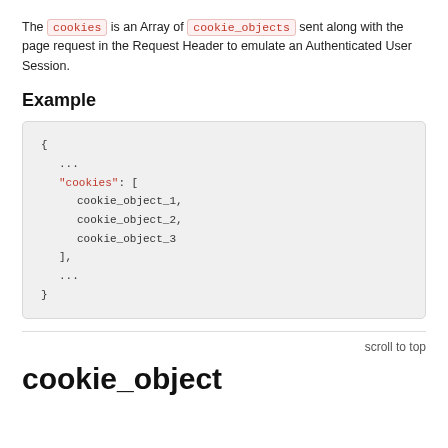The cookies is an Array of cookie_objects sent along with the page request in the Request Header to emulate an Authenticated User Session.
Example
{
  ...
  "cookies": [
    cookie_object_1,
    cookie_object_2,
    cookie_object_3
  ],
  ...
}
scroll to top
cookie_object